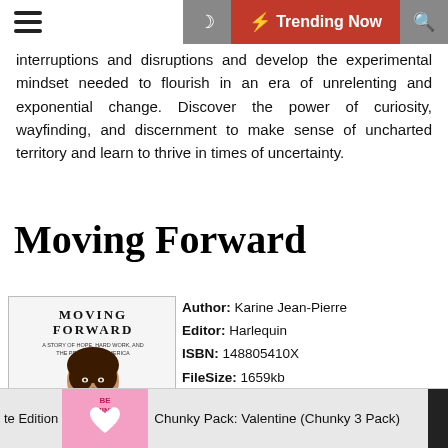Trending Now
interruptions and disruptions and develop the experimental mindset needed to flourish in an era of unrelenting and exponential change. Discover the power of curiosity, wayfinding, and discernment to make sense of uncharted territory and learn to thrive in times of uncertainty.
Moving Forward
[Figure (illustration): Book cover for 'Moving Forward: A Story of Hope, Hard Work, and The Promise of America' by Karine Jean-Pierre, showing a woman's portrait]
| Field | Value |
| --- | --- |
| Author | Karine Jean-Pierre |
| Editor | Harlequin |
| ISBN | 148805410X |
| FileSize | 1659kb |
| File Format | Pdf |
| Read | 1659 |
te Edition   Chunky Pack: Valentine (Chunky 3 Pack)